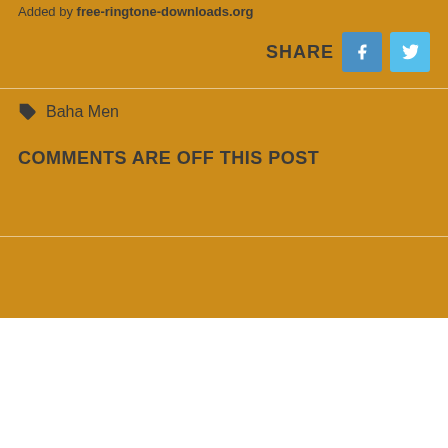Added by free-ringtone-downloads.org
SHARE
Baha Men
COMMENTS ARE OFF THIS POST
[Figure (logo): Musical note icon in red]
Lirik Lagu | Free Ringtones
DMCA Policy  Privacy Policy